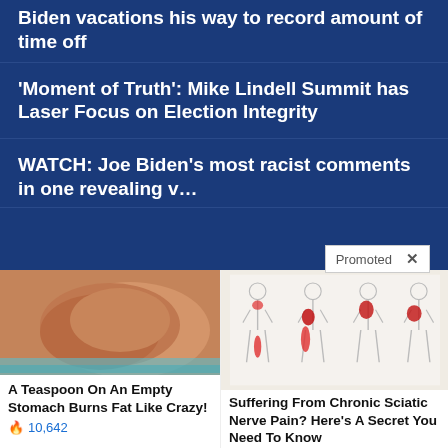Biden vacations his way to record amount of time off
'Moment of Truth': Mike Lindell Summit has Laser Focus on Election Integrity
WATCH: Joe Biden's most racist comments in one revealing v…
Promoted ×
[Figure (photo): Photo of a person's midsection/belly, side view]
A Teaspoon On An Empty Stomach Burns Fat Like Crazy!
🔥 10,642
[Figure (illustration): Medical illustration of human body diagrams showing sciatic nerve pain areas highlighted in red]
Suffering From Chronic Sciatic Nerve Pain? Here's A Secret You Need To Know
🔥 81,161